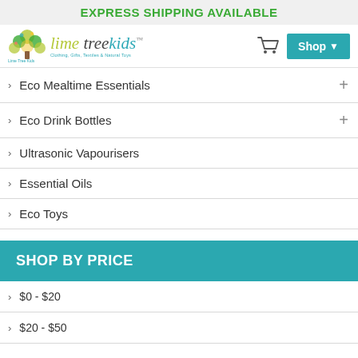EXPRESS SHIPPING AVAILABLE
[Figure (logo): Lime Tree Kids logo with tree illustration and stylized text]
Eco Mealtime Essentials
Eco Drink Bottles
Ultrasonic Vapourisers
Essential Oils
Eco Toys
SHOP BY PRICE
$0 - $20
$20 - $50